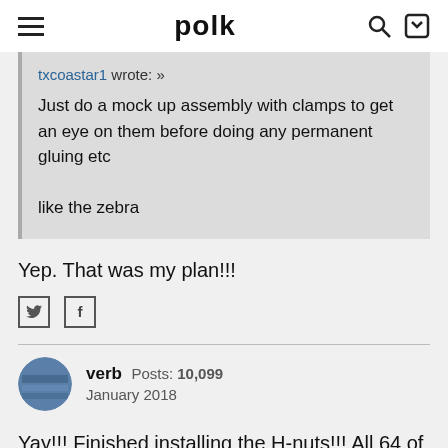polk
txcoastar1 wrote: » Just do a mock up assembly with clamps to get an eye on them before doing any permanent gluing etc

like the zebra
Yep. That was my plan!!!
verb  Posts: 10,099  January 2018
Yay!!! Finished installing the H-nuts!!! All 64 of them...